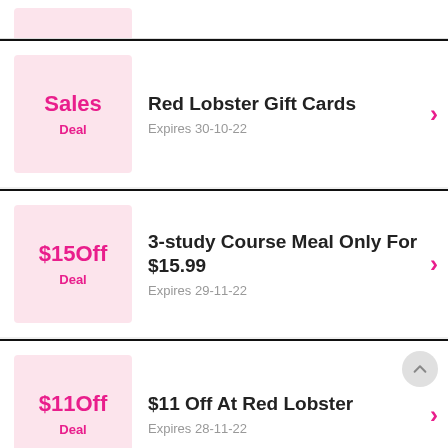[Figure (screenshot): Partial top card showing pink badge area cropped at top]
Sales Deal | Red Lobster Gift Cards | Expires 30-10-22
$15Off Deal | 3-study Course Meal Only For $15.99 | Expires 29-11-22
$11Off Deal | $11 Off At Red Lobster | Expires 28-11-22